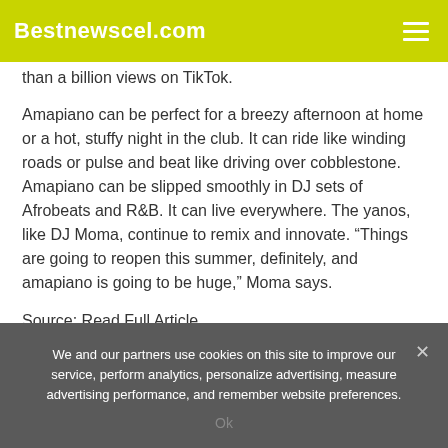Bestnewscel.com
than a billion views on TikTok.
Amapiano can be perfect for a breezy afternoon at home or a hot, stuffy night in the club. It can ride like winding roads or pulse and beat like driving over cobblestone. Amapiano can be slipped smoothly in DJ sets of Afrobeats and R&B. It can live everywhere. The yanos, like DJ Moma, continue to remix and innovate. “Things are going to reopen this summer, definitely, and amapiano is going to be huge,” Moma says.
Source: Read Full Article
We and our partners use cookies on this site to improve our service, perform analytics, personalize advertising, measure advertising performance, and remember website preferences.